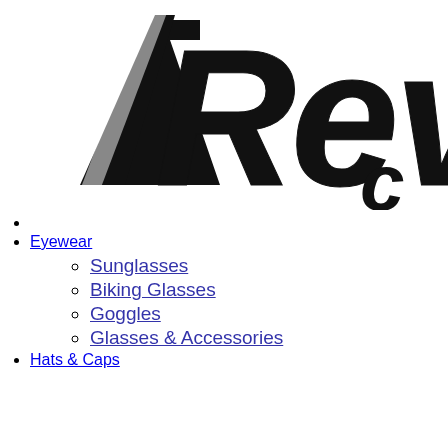[Figure (logo): Partial 'Revo' (or similar brand) logo in bold black italic stylized font, cropped at right edge]
Eyewear
Sunglasses
Biking Glasses
Goggles
Glasses & Accessories
Hats & Caps